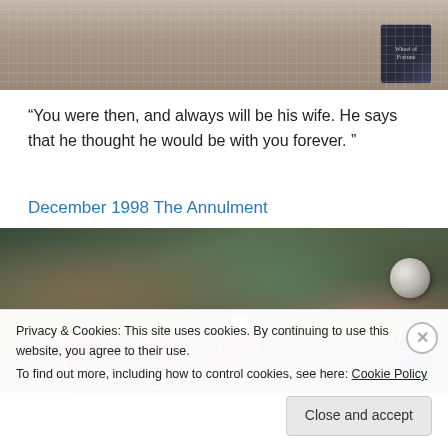[Figure (photo): Top cropped photo showing tarot cards and mystical items on a lace tablecloth, with a dark card box visible]
“You were then, and always will be his wife. He says that he thought he would be with you forever. ”
December 1998 The Annulment
[Figure (photo): Photo of a mystical altar with tarot cards, crystals, a crystal ball, candles, stones, and figurines on a lace tablecloth]
Privacy & Cookies: This site uses cookies. By continuing to use this website, you agree to their use.
To find out more, including how to control cookies, see here: Cookie Policy
Close and accept